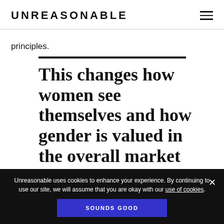UNREASONABLE
principles.
This changes how women see themselves and how gender is valued in the overall market
Unreasonable uses cookies to enhance your experience. By continuing to use our site, we will assume that you are okay with our use of cookies.
SOUNDS GOOD